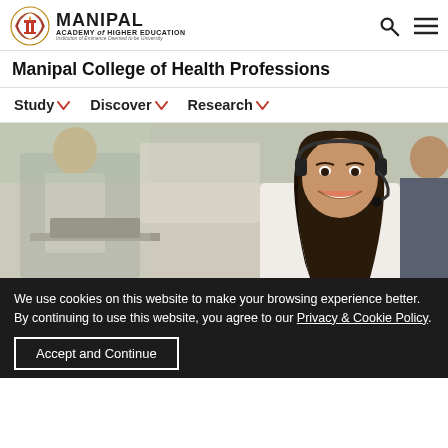[Figure (logo): Manipal Academy of Higher Education logo with emblem and text]
Manipal College of Health Professions
Study | Discover | Research
[Figure (photo): A smiling woman wearing a headset in a call center / support environment, with a man in the background working at a computer]
We use cookies on this website to make your browsing experience better. By continuing to use this website, you agree to our Privacy & Cookie Policy.
Accept and Continue